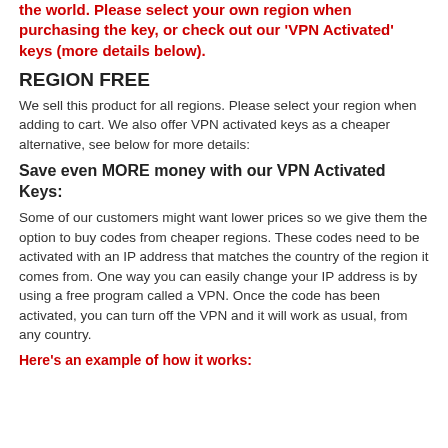the world.  Please select your own region when purchasing the key, or check out our 'VPN Activated' keys (more details below).
REGION FREE
We sell this product for all regions.  Please select your region when adding to cart.  We also offer VPN activated keys as a cheaper alternative, see below for more details:
Save even MORE money with our VPN Activated Keys:
Some of our customers might want lower prices so we give them the option to buy codes from cheaper regions. These codes need to be activated with an IP address that matches the country of the region it comes from. One way you can easily change your IP address is by using a free program called a VPN.  Once the code has been activated, you can turn off the VPN and it will work as usual, from any country.
Here's an example of how it works: